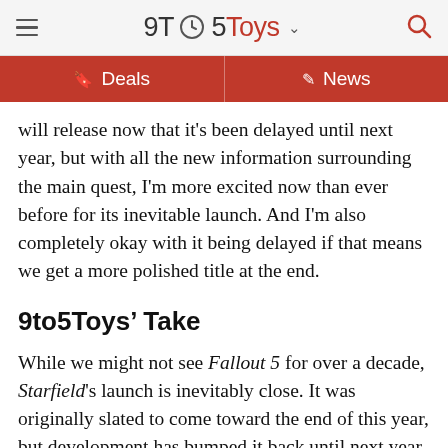9to5Toys
Deals | News
will release now that it's been delayed until next year, but with all the new information surrounding the main quest, I'm more excited now than ever before for its inevitable launch. And I'm also completely okay with it being delayed if that means we get a more polished title at the end.
9to5Toys’ Take
While we might not see Fallout 5 for over a decade, Starfield's launch is inevitably close. It was originally slated to come toward the end of this year, but development has bumped it back until next year, and like I said, I'm fine with that. I don’t want another Cyberpunk 2077 fiasco where players want a game so bad the developer releases it with all kinds of issues that could have been solved with a few more months (or years) of development, and by the